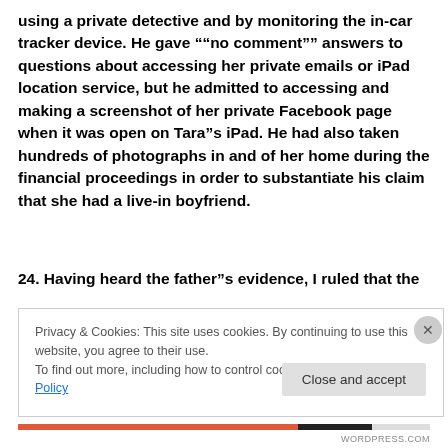using a private detective and by monitoring the in-car tracker device. He gave “”no comment”” answers to questions about accessing her private emails or iPad location service, but he admitted to accessing and making a screenshot of her private Facebook page when it was open on Tara”s iPad. He had also taken hundreds of photographs in and of her home during the financial proceedings in order to substantiate his claim that she had a live-in boyfriend.
24. Having heard the father”s evidence, I ruled that the
Privacy & Cookies: This site uses cookies. By continuing to use this website, you agree to their use.
To find out more, including how to control cookies, see here: Cookie Policy